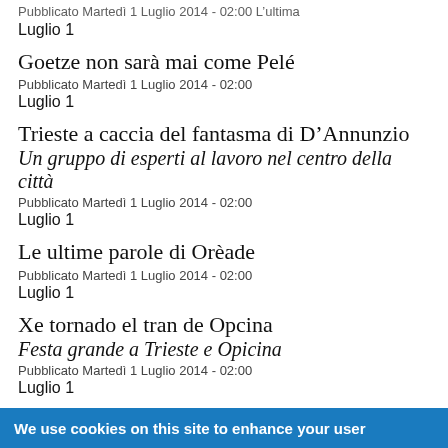Pubblicato Martedì 1 Luglio 2014 - 02:00 L'ultima
Luglio 1
Goetze non sarà mai come Pelé
Pubblicato Martedì 1 Luglio 2014 - 02:00
Luglio 1
Trieste a caccia del fantasma di D'Annunzio
Un gruppo di esperti al lavoro nel centro della città
Pubblicato Martedì 1 Luglio 2014 - 02:00
Luglio 1
Le ultime parole di Orèade
Pubblicato Martedì 1 Luglio 2014 - 02:00
Luglio 1
Xe tornado el tran de Opcina
Festa grande a Trieste e Opicina
Pubblicato Martedì 1 Luglio 2014 - 02:00
Luglio 1
Nell'allegro Paese dei senza vergogna
Pubblicato Martedì 1 Luglio 2014 - 02:00
Luglio 1
We use cookies on this site to enhance your user